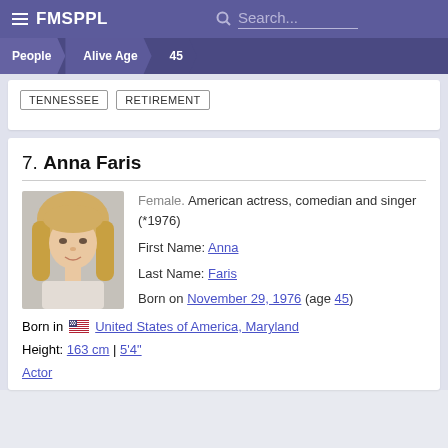FMSPPL  Search...
People  Alive Age  45
TENNESSEE  RETIREMENT
7. Anna Faris
[Figure (photo): Photo of Anna Faris, blonde woman smiling]
Female. American actress, comedian and singer (*1976)
First Name: Anna
Last Name: Faris
Born on November 29, 1976 (age 45)
Born in United States of America, Maryland
Height: 163 cm | 5'4"
Actor